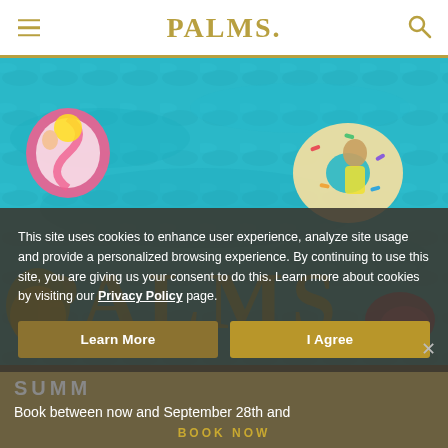PALMS.
[Figure (photo): Aerial view of a turquoise pool with people on colorful inflatable floats (donut, lollipop, pineapple) and large gold glitter PALMS letters on the pool surface.]
This site uses cookies to enhance user experience, analyze site usage and provide a personalized browsing experience. By continuing to use this site, you are giving us your consent to do this. Learn more about cookies by visiting our Privacy Policy page.
Learn More
I Agree
SUMM
Book between now and September 28th and
BOOK NOW